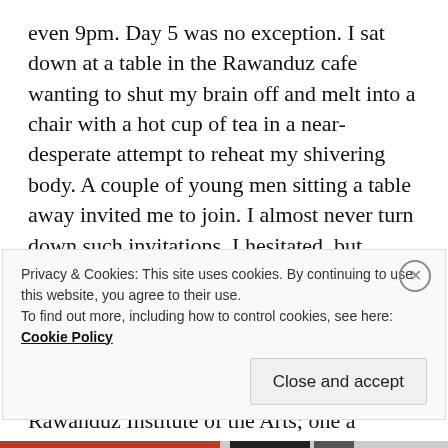even 9pm. Day 5 was no exception. I sat down at a table in the Rawanduz cafe wanting to shut my brain off and melt into a chair with a hot cup of tea in a near-desperate attempt to reheat my shivering body. A couple of young men sitting a table away invited me to join. I almost never turn down such invitations. I hesitated, but accepted.
It turned out to be one of the best decisions of my entire trip. The young men were all classically trained musicians at the Rawanduz Institute of the Arts; one a pianist, two violinists, and the fourth a flamenco guitarist. We talked and shared
Privacy & Cookies: This site uses cookies. By continuing to use this website, you agree to their use.
To find out more, including how to control cookies, see here:
Cookie Policy
Close and accept